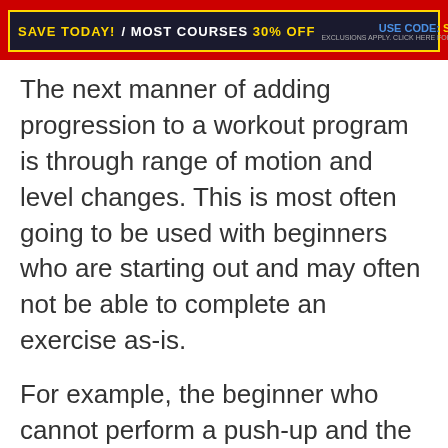[Figure (infographic): Red banner ad with dark background: 'SAVE TODAY! MOST COURSES 30% OFF USE CODE: SAVE30']
The next manner of adding progression to a workout program is through range of motion and level changes. This is most often going to be used with beginners who are starting out and may often not be able to complete an exercise as-is.

For example, the beginner who cannot perform a push-up and the goal is to get them strong enough that they can confidently complete one whole push-up without